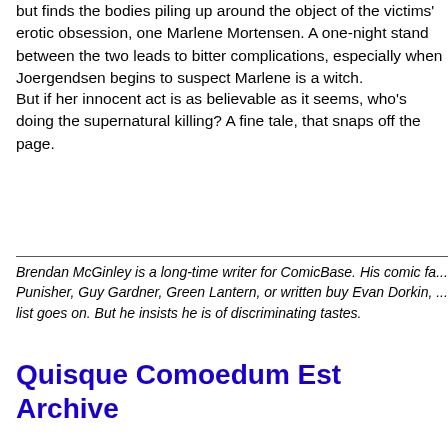but finds the bodies piling up around the object of the victims' erotic obsession, one Marlene Mortensen. A one-night stand between the two leads to bitter complications, especially when Joergendsen begins to suspect Marlene is a witch.
But if her innocent act is as believable as it seems, who's doing the supernatural killing? A fine tale, that snaps off the page.
Brendan McGinley is a long-time writer for ComicBase. His comic fa... Punisher, Guy Gardner, Green Lantern, or written buy Evan Dorkin, ... list goes on. But he insists he is of discriminating tastes.
Quisque Comoedum Est Archive